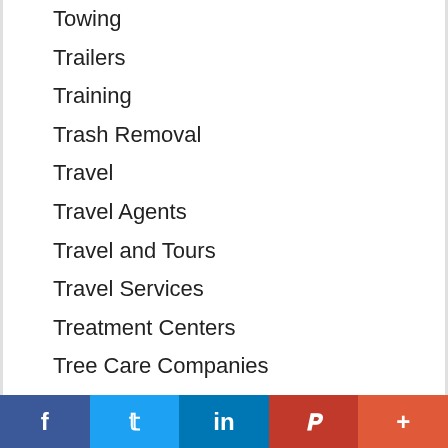Towing
Trailers
Training
Trash Removal
Travel
Travel Agents
Travel and Tours
Travel Services
Treatment Centers
Tree Care Companies
Tree Services
Tutoring
Upholstery
Upholstery Cleaning